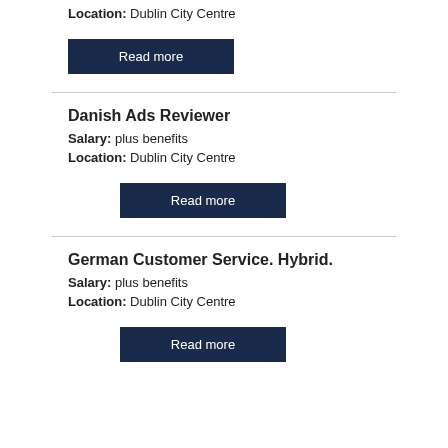Location: Dublin City Centre
Read more
Danish Ads Reviewer
Salary: plus benefits
Location: Dublin City Centre
Read more
German Customer Service. Hybrid.
Salary: plus benefits
Location: Dublin City Centre
Read more